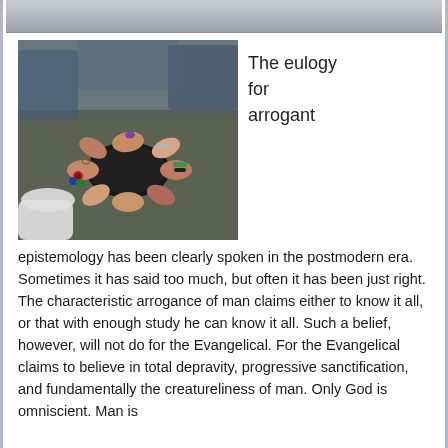[Figure (photo): Many hands of diverse people touching a black Bible/book in the center, forming a circle. People wearing colorful bracelets and wristbands.]
The eulogy for arrogant
epistemology has been clearly spoken in the postmodern era. Sometimes it has said too much, but often it has been just right. The characteristic arrogance of man claims either to know it all, or that with enough study he can know it all. Such a belief, however, will not do for the Evangelical. For the Evangelical claims to believe in total depravity, progressive sanctification, and fundamentally the creatureliness of man. Only God is omniscient. Man is